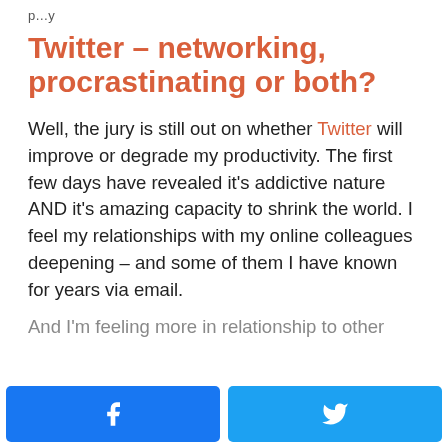p...y
Twitter – networking, procrastinating or both?
Well, the jury is still out on whether Twitter will improve or degrade my productivity. The first few days have revealed it's addictive nature AND it's amazing capacity to shrink the world. I feel my relationships with my online colleagues deepening – and some of them I have known for years via email.
And I'm feeling more in relationship to other
[Figure (other): Facebook and Twitter social sharing buttons at the bottom of the page]